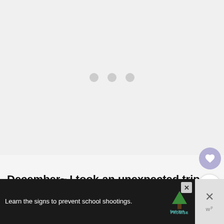[Figure (screenshot): Loading placeholder area with three gray dots centered on a light gray background, representing a loading image or slideshow.]
[Figure (other): Heart (like/favorite) button — circular purple/lavender button with a white heart icon.]
[Figure (other): Share button — circular white button with share/add icon.]
[Figure (other): What's Next card showing a thumbnail of a coffee/donut photo with text 'WHAT'S NEXT → Orange Boodle (or...']
December~ I took an unexpected trip to Barcelona, Spain because my husband was w...
[Figure (screenshot): Advertisement banner with dark background. Text: 'Learn the signs to prevent school shootings.' with Sandy Hook Promise logo and tree graphic. Has close (X) button.]